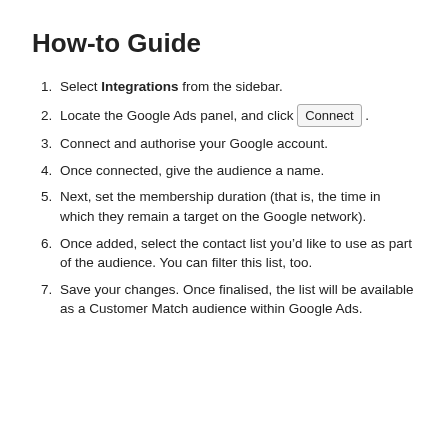How-to Guide
Select Integrations from the sidebar.
Locate the Google Ads panel, and click Connect .
Connect and authorise your Google account.
Once connected, give the audience a name.
Next, set the membership duration (that is, the time in which they remain a target on the Google network).
Once added, select the contact list you’d like to use as part of the audience. You can filter this list, too.
Save your changes. Once finalised, the list will be available as a Customer Match audience within Google Ads.